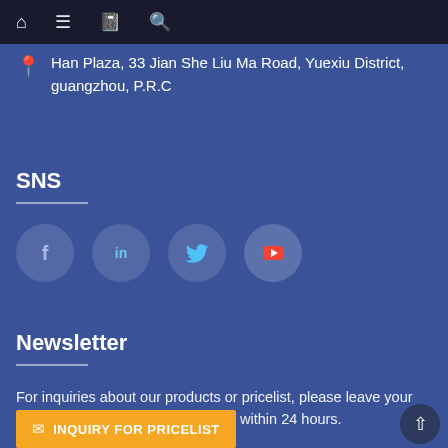Navigation bar with home, menu, book, and search icons
Han Plaza, 33 Jian She Liu Ma Road, Yuexiu District, guangzhou, P.R.C
SNS
[Figure (infographic): Four social media icons in circles: Facebook (f), LinkedIn (in), Twitter (bird), YouTube (play button)]
Newsletter
For inquiries about our products or pricelist, please leave your email to us and we will be in touch within 24 hours.
INQUIRY FOR PRICELIST